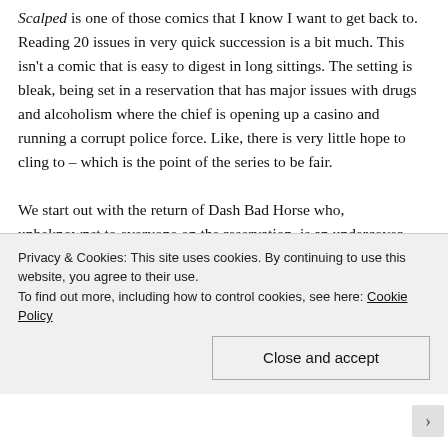Scalped is one of those comics that I know I want to get back to. Reading 20 issues in very quick succession is a bit much. This isn't a comic that is easy to digest in long sittings. The setting is bleak, being set in a reservation that has major issues with drugs and alcoholism where the chief is opening up a casino and running a corrupt police force. Like, there is very little hope to cling to – which is the point of the series to be fair.

We start out with the return of Dash Bad Horse who, unbeknownst to everyone on the reservation, is an undercover FBI agent who has been strong-armed into finding those who shot down two FBI agents some 15 years earlier. Many of the comics fall into a 'crime of the batch'
Privacy & Cookies: This site uses cookies. By continuing to use this website, you agree to their use.
To find out more, including how to control cookies, see here: Cookie Policy
Close and accept